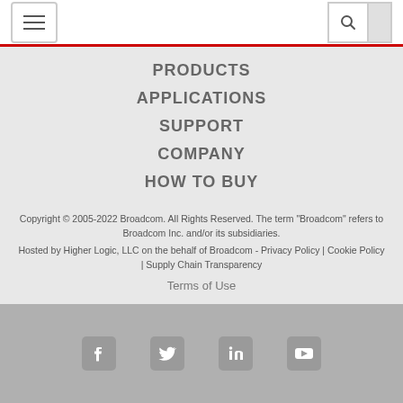Navigation header with hamburger menu and search
PRODUCTS
APPLICATIONS
SUPPORT
COMPANY
HOW TO BUY
Copyright © 2005-2022 Broadcom. All Rights Reserved. The term "Broadcom" refers to Broadcom Inc. and/or its subsidiaries. Hosted by Higher Logic, LLC on the behalf of Broadcom - Privacy Policy | Cookie Policy | Supply Chain Transparency
Terms of Use
[Figure (infographic): Social media icons: Facebook, Twitter, LinkedIn, YouTube in white on grey bar]